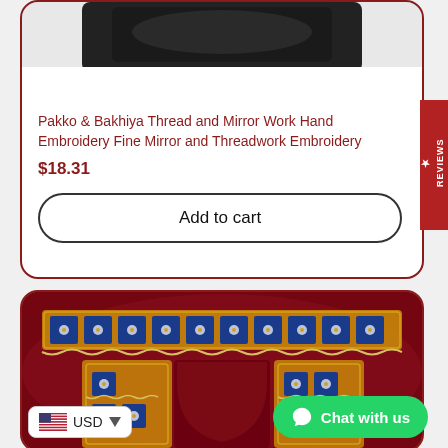[Figure (photo): Dark-colored product partially visible at top of first product card]
Pakko & Bakhiya Thread and Mirror Work Hand Embroidery Fine Mirror and Threadwork Embroidery
$18.31
Add to cart
★ REVIEWS
[Figure (photo): Dark maroon/red fabric with decorative hand embroidery featuring mirror work, golden threadwork borders and geometric patterns]
USD
Chat with us